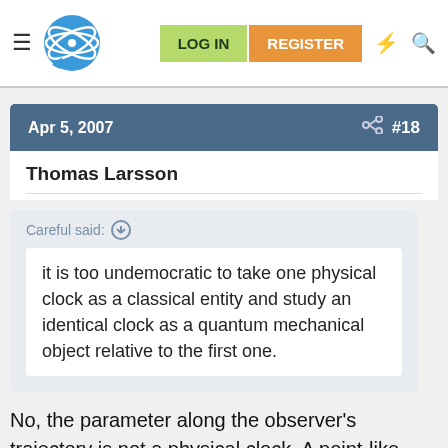PhysicsForums — LOG IN | REGISTER
Apr 5, 2007  #18
Thomas Larsson
Careful said: it is too undemocratic to take one physical clock as a classical entity and study an identical clock as a quantum mechanical object relative to the first one.
No, the parameter along the observer's trajectory is not a physical clock. A point-like observer moves along a one-dimensional